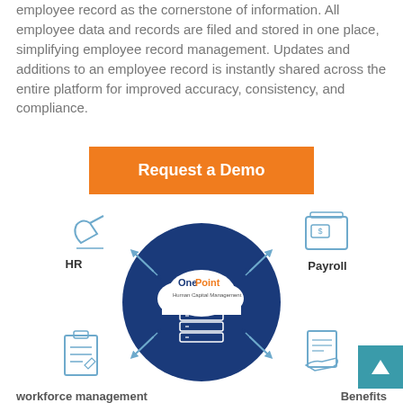employee record as the cornerstone of information. All employee data and records are filed and stored in one place, simplifying employee record management. Updates and additions to an employee record is instantly shared across the entire platform for improved accuracy, consistency, and compliance.
[Figure (other): Orange button with white bold text 'Request a Demo']
[Figure (infographic): Circular diagram showing OnePoint Human Capital Management platform in the center (dark blue circle with cloud logo and database icon), surrounded by four modules connected by arrows: HR (upper left, hand writing icon), Payroll (upper right, cash register/safe icon), Benefits (lower right, hand holding document icon), and Workforce Management (lower left, clipboard icon).]
workforce management
Benefits